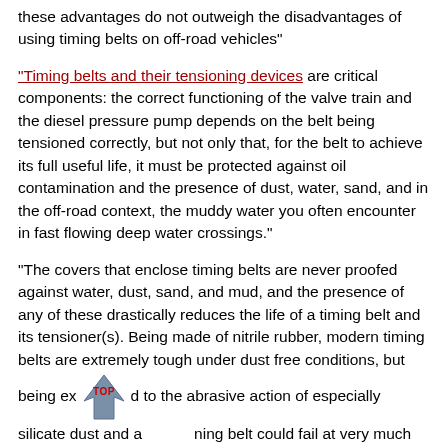these advantages do not outweigh the disadvantages of using timing belts on off-road vehicles"
"Timing belts and their tensioning devices are critical components: the correct functioning of the valve train and the diesel pressure pump depends on the belt being tensioned correctly, but not only that, for the belt to achieve its full useful life, it must be protected against oil contamination and the presence of dust, water, sand, and in the off-road context, the muddy water you often encounter in fast flowing deep water crossings."
"The covers that enclose timing belts are never proofed against water, dust, sand, and mud, and the presence of any of these drastically reduces the life of a timing belt and its tensioner(s). Being made of nitrile rubber, modern timing belts are extremely tough under dust free conditions, but being exposed to the abrasive action of especially silicate dust and a timing belt could fail at very much less than half its recommended, or claimed life."
[Figure (logo): TOP navigation badge — a blue-grey arrow pointing up with the word TOP in red above it]